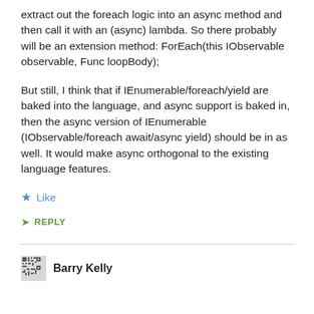extract out the foreach logic into an async method and then call it with an (async) lambda. So there probably will be an extension method: ForEach(this IObservable observable, Func loopBody);
But still, I think that if IEnumerable/foreach/yield are baked into the language, and async support is baked in, then the async version of IEnumerable (IObservable/foreach await/async yield) should be in as well. It would make async orthogonal to the existing language features.
★ Like
➤ REPLY
Barry Kelly